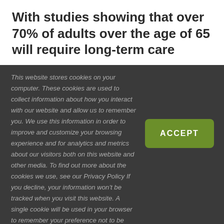With studies showing that over 70% of adults over the age of 65 will require long-term care
This website stores cookies on your computer. These cookies are used to collect information about how you interact with our website and allow us to remember you. We use this information in order to improve and customize your browsing experience and for analytics and metrics about our visitors both on this website and other media. To find out more about the cookies we use, see our Privacy Policy If you decline, your information won't be tracked when you visit this website. A single cookie will be used in your browser to remember your preference not to be tracked.
[Figure (other): Green ACCEPT button]